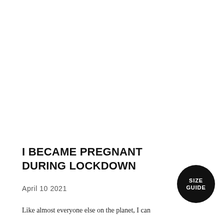I BECAME PREGNANT DURING LOCKDOWN
April 10 2021
Like almost everyone else on the planet, I can